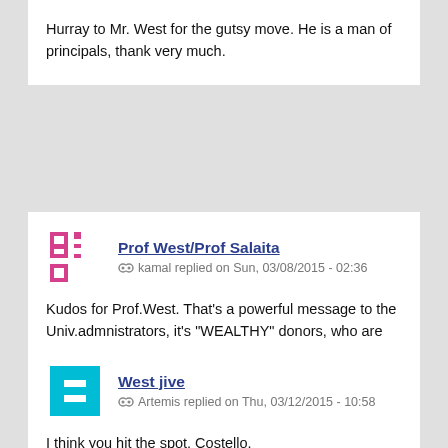Hurray to Mr. West for the gutsy move. He is a man of principals, thank very much.
Prof West/Prof Salaita
kamal replied on Sun, 03/08/2015 - 02:36
Kudos for Prof.West. That's a powerful message to the Univ.admnistrators, it's "WEALTHY" donors, who are trying to suppress free speach. This action is a loud form of free speach, that the university cannot block.!
West jive
Artemis replied on Thu, 03/12/2015 - 10:58
I think you hit the spot, Costello.